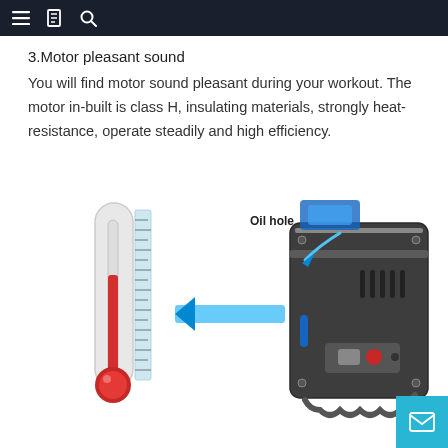Navigation bar with menu, library, and search icons
3.Motor pleasant sound
You will find motor sound pleasant during your workout. The motor in-built is class H, insulating materials, strongly heat-resistance, operate steadily and high efficiency.
[Figure (engineering-diagram): Engineering diagram showing a thermometer (with red mercury level) on the left and a treadmill motor component on the right labeled 'Oil hole' with arrows pointing to the component and left toward the thermometer, indicating heat management.]